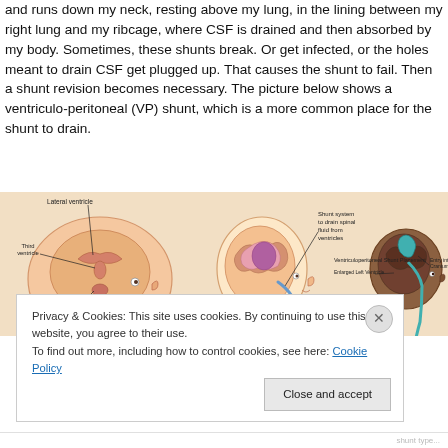and runs down my neck, resting above my lung, in the lining between my right lung and my ribcage, where CSF is drained and then absorbed by my body. Sometimes, these shunts break. Or get infected, or the holes meant to drain CSF get plugged up. That causes the shunt to fail. Then a shunt revision becomes necessary. The picture below shows a ventriculo-peritoneal (VP) shunt, which is a more common place for the shunt to drain.
[Figure (illustration): Medical diagram showing three brain illustrations: left shows lateral ventricle, third ventricle, and fourth ventricle labeled on a cross-section of an infant head; center shows a shunt system to drain spinal fluid from ventricles with a side profile of a head; right shows Ventriculoperitoneal Shunt Placement with Enlarged Left Ventricle and Entry into Cranium labels.]
Privacy & Cookies: This site uses cookies. By continuing to use this website, you agree to their use.
To find out more, including how to control cookies, see here: Cookie Policy